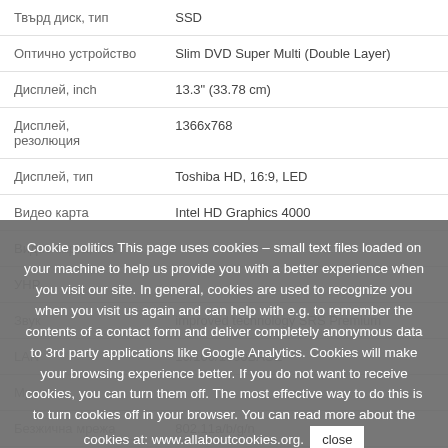| Твърд диск, тип | SSD |
| Оптично устройство | Slim DVD Super Multi (Double Layer) |
| Дисплей, inch | 13.3" (33.78 cm) |
| Дисплей, резолюция | 1366x768 |
| Дисплей, тип | Toshiba HD, 16:9, LED |
| Видео карта | Intel HD Graphics 4000 |
| Видео карта, тип |  |
| УНР |  |
| Звук | improved technology SRS Premium |
| LAN | 10/100/1000BASE- |
| Мрежа |  |
| Безжична мрежа | 802.11a/b/g/n |
Cookie politics This page uses cookies – small text files loaded on your machine to help us provide you with a better experience when you visit our site. In general, cookies are used to recognize you when you visit us again and can help with e.g. to remember the contents of a contact form and deliver completely anonymous data to 3rd party applications like Google Analytics. Cookies will make your browsing experience better. If you do not want to receive cookies, you can turn them off. The most effective way to do this is to turn cookies off in your browser. You can read more about the cookies at: www.allaboutcookies.org.